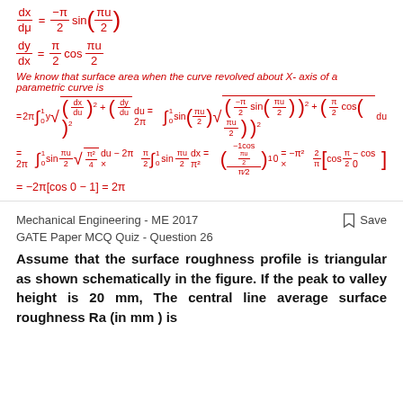We know that surface area when the curve revolved about X- axis of a parametric curve is
Mechanical Engineering - ME 2017
GATE Paper MCQ Quiz - Question 26
Assume that the surface roughness profile is triangular as shown schematically in the figure. If the peak to valley height is 20 mm, The central line average surface roughness Ra (in mm ) is